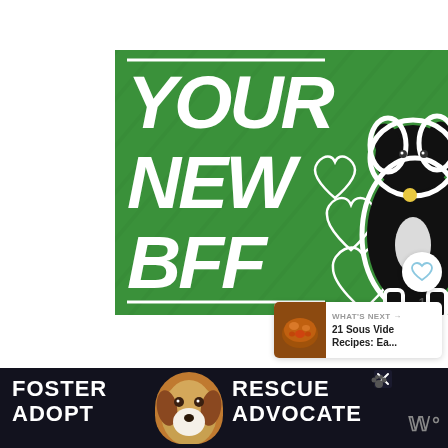[Figure (illustration): Green advertisement banner reading 'YOUR NEW BFF' in large white italic bold text with a black dog and white heart outlines on a green background]
[Figure (illustration): Circular like/heart button (white) with count of 1 below it, and a teal share button below that]
WHAT'S NEXT → 21 Sous Vide Recipes: Ea...
[Figure (illustration): Dark bottom banner ad reading 'FOSTER ADOPT RESCUE ADVOCATE' with a dog photo, close button, and Wurl logo]